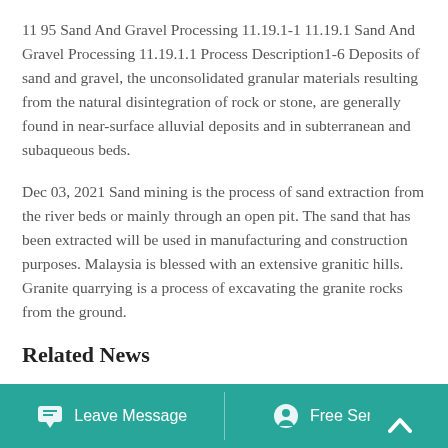11 95 Sand And Gravel Processing 11.19.1-1 11.19.1 Sand And Gravel Processing 11.19.1.1 Process Description1-6 Deposits of sand and gravel, the unconsolidated granular materials resulting from the natural disintegration of rock or stone, are generally found in near-surface alluvial deposits and in subterranean and subaqueous beds.
Dec 03, 2021 Sand mining is the process of sand extraction from the river beds or mainly through an open pit. The sand that has been extracted will be used in manufacturing and construction purposes. Malaysia is blessed with an extensive granitic hills. Granite quarrying is a process of excavating the granite rocks from the ground.
Related News
Leave Message   Free Service